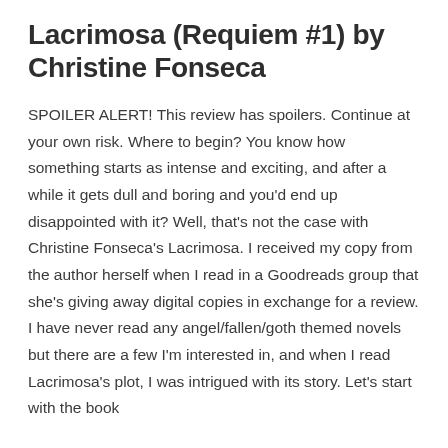Lacrimosa (Requiem #1) by Christine Fonseca
SPOILER ALERT! This review has spoilers. Continue at your own risk. Where to begin? You know how something starts as intense and exciting, and after a while it gets dull and boring and you'd end up disappointed with it? Well, that's not the case with Christine Fonseca's Lacrimosa. I received my copy from the author herself when I read in a Goodreads group that she's giving away digital copies in exchange for a review. I have never read any angel/fallen/goth themed novels but there are a few I'm interested in, and when I read Lacrimosa's plot, I was intrigued with its story. Let's start with the book